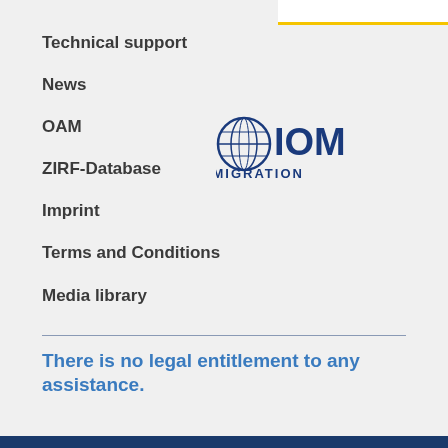[Figure (logo): IOM UN Migration logo with globe icon in blue and yellow]
Technical support
News
OAM
ZIRF-Database
Imprint
Terms and Conditions
Media library
There is no legal entitlement to any assistance.